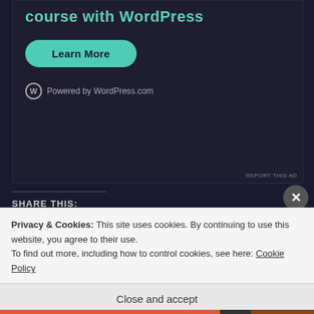[Figure (screenshot): WordPress.com advertisement banner with teal heading text, Learn More button, and Powered by WordPress.com logo on dark background]
REPORT THIS AD
SHARE THIS:
Email  Facebook  Twitter  Pinterest
Loading...
Privacy & Cookies: This site uses cookies. By continuing to use this website, you agree to their use.
To find out more, including how to control cookies, see here: Cookie Policy
Close and accept